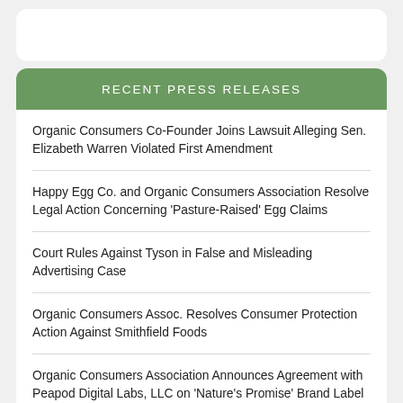RECENT PRESS RELEASES
Organic Consumers Co-Founder Joins Lawsuit Alleging Sen. Elizabeth Warren Violated First Amendment
Happy Egg Co. and Organic Consumers Association Resolve Legal Action Concerning 'Pasture-Raised' Egg Claims
Court Rules Against Tyson in False and Misleading Advertising Case
Organic Consumers Assoc. Resolves Consumer Protection Action Against Smithfield Foods
Organic Consumers Association Announces Agreement with Peapod Digital Labs, LLC on 'Nature's Promise' Brand Label Change
Animal Equality, Organic Consumers Association, and Champion Petfoods Announce Resolution of Disputes